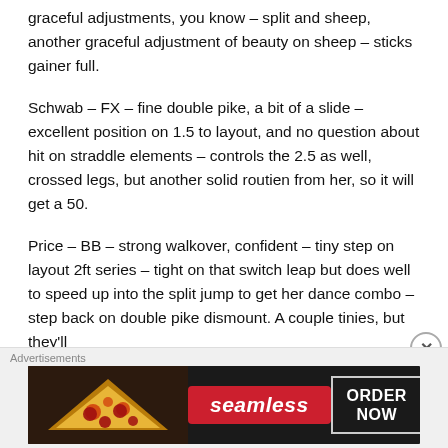graceful adjustments, you know – split and sheep, another graceful adjustment of beauty on sheep – sticks gainer full.
Schwab – FX – fine double pike, a bit of a slide – excellent position on 1.5 to layout, and no question about hit on straddle elements – controls the 2.5 as well, crossed legs, but another solid routien from her, so it will get a 50.
Price – BB – strong walkover, confident – tiny step on layout 2ft series – tight on that switch leap but does well to speed up into the split jump to get her dance combo – step back on double pike dismount. A couple tinies, but they'll
[Figure (other): Seamless food delivery advertisement banner with pizza image, seamless logo, and ORDER NOW button]